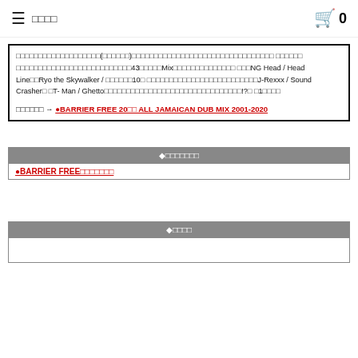≡ メニュー  🛒 0
□□□□□□□□□□□□□□□□□□□(□□□□□□)□□□□□□□□□□□□□□□□□□□□□□□□□□□□□□□□ □□□□□□ □□□□□□□□□□□□□□□□□□□□□□□□□□43□□□□□Mix□□□□□□□□□□□□□□ □□□NG Head / Head Line□□Ryo the Skywalker / □□□□□□10□□□□□□□□□□□□□□□□□□□□□□□□□□□J-Rexxx / Sound Crasher□ □T-Man / Ghetto□□□□□□□□□□□□□□□□□□□□□□□□□□□□□□□!?□ □1□□□□
続きはこちら → ●BARRIER FREE 20周年 ALL JAMAICAN DUB MIX 2001-2020
| ◆関連アーティスト |
| --- |
| ●BARRIER FREE□□□□□□□ |
| ◆口口口口 |
| --- |
|  |